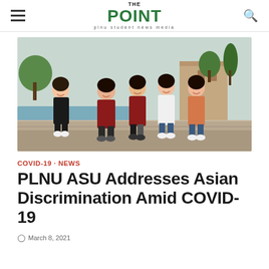THE POINT — plnu student news media
[Figure (photo): Group photo of six young Asian students posing together outdoors near a fountain on the PLNU campus, smiling and laughing.]
COVID-19 · NEWS
PLNU ASU Addresses Asian Discrimination Amid COVID-19
March 8, 2021